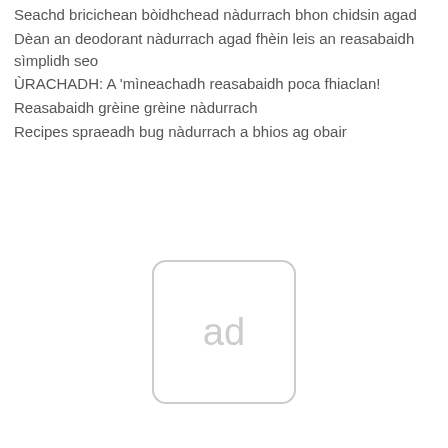Seachd bricichean bòidhchead nàdurrach bhon chidsin agad
Dèan an deodorant nàdurrach agad fhèin leis an reasabaidh sìmplidh seo
ÙRACHADH: A 'mìneachadh reasabaidh poca fhiaclan!
Reasabaidh grèine grèine nàdurrach
Recipes spraeadh bug nàdurrach a bhios ag obair
[Figure (other): Advertisement placeholder box with 'ad' text]